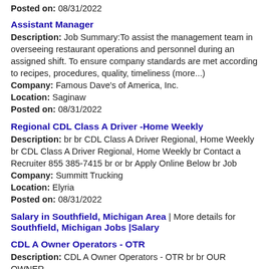Posted on: 08/31/2022
Assistant Manager
Description: Job Summary:To assist the management team in overseeing restaurant operations and personnel during an assigned shift. To ensure company standards are met according to recipes, procedures, quality, timeliness (more...)
Company: Famous Dave's of America, Inc.
Location: Saginaw
Posted on: 08/31/2022
Regional CDL Class A Driver -Home Weekly
Description: br br CDL Class A Driver Regional, Home Weekly br CDL Class A Driver Regional, Home Weekly br Contact a Recruiter 855 385-7415 br or br Apply Online Below br Job
Company: Summitt Trucking
Location: Elyria
Posted on: 08/31/2022
Salary in Southfield, Michigan Area | More details for Southfield, Michigan Jobs |Salary
CDL A Owner Operators - OTR
Description: CDL A Owner Operators - OTR br br OUR OWNER